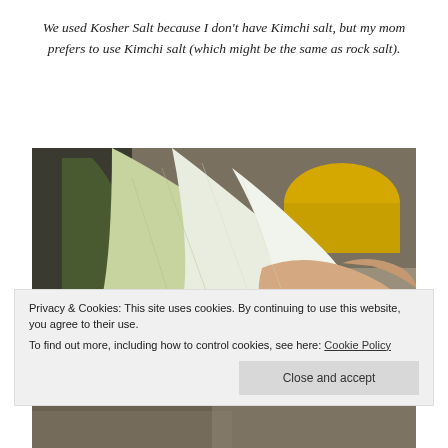We used Kosher Salt because I don't have Kimchi salt, but my mom prefers to use Kimchi salt (which might be the same as rock salt).
[Figure (photo): A person holding a large leaf of napa cabbage over a kitchen counter, with a yellow bowl and kitchen knives visible in the background.]
Privacy & Cookies: This site uses cookies. By continuing to use this website, you agree to their use. To find out more, including how to control cookies, see here: Cookie Policy
Close and accept